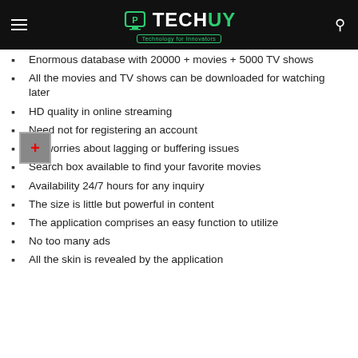TECHUY — Technology for Innovators
Enormous database with 20000 + movies + 5000 TV shows
All the movies and TV shows can be downloaded for watching later
HD quality in online streaming
Need not for registering an account
No worries about lagging or buffering issues
Search box available to find your favorite movies
Availability 24/7 hours for any inquiry
The size is little but powerful in content
The application comprises an easy function to utilize
No too many ads
All the skin is revealed by the application